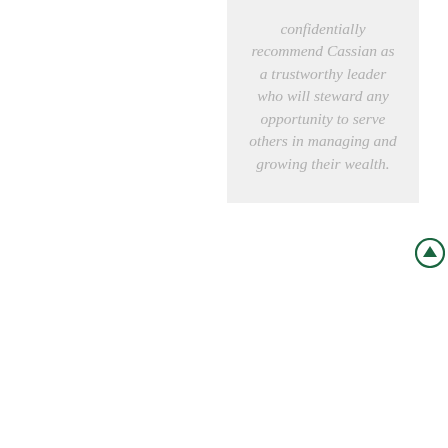confidentially recommend Cassian as a trustworthy leader who will steward any opportunity to serve others in managing and growing their wealth.
[Figure (illustration): Dark green circle with an upward-pointing arrow inside, serving as a navigation or scroll-up button.]